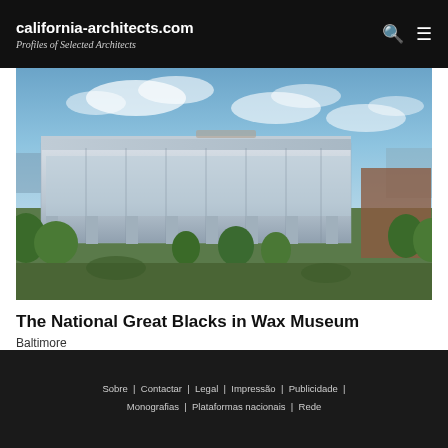california-architects.com Profiles of Selected Architects
[Figure (photo): Aerial/perspective rendering of The National Great Blacks in Wax Museum building in Baltimore — a modern multi-story glass and metal structure surrounded by trees and urban landscape under a partly cloudy sky.]
The National Great Blacks in Wax Museum
Baltimore
Sobre | Contactar | Legal | Impressão | Publicidade | Monografias | Plataformas nacionais | Rede